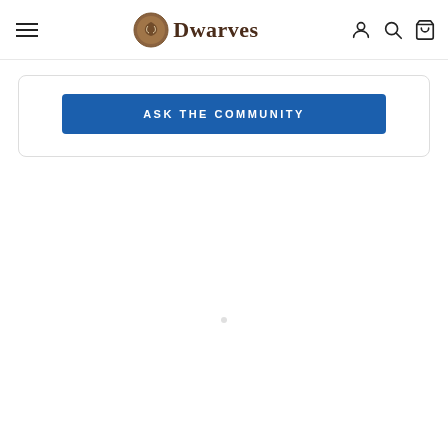Dwarves — navigation header with hamburger menu, logo, account, search, and cart icons
[Figure (screenshot): ASK THE COMMUNITY button inside a white card with rounded border]
[Figure (other): Loading spinner dot in the center of the page below the card]